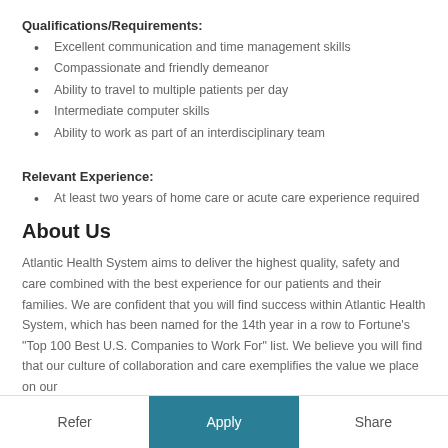Qualifications/Requirements:
Excellent communication and time management skills
Compassionate and friendly demeanor
Ability to travel to multiple patients per day
Intermediate computer skills
Ability to work as part of an interdisciplinary team
Relevant Experience:
At least two years of home care or acute care experience required
About Us
Atlantic Health System aims to deliver the highest quality, safety and care combined with the best experience for our patients and their families. We are confident that you will find success within Atlantic Health System, which has been named for the 14th year in a row to Fortune’s “Top 100 Best U.S. Companies to Work For” list. We believe you will find that our culture of collaboration and care exemplifies the value we place on our
Refer   Apply   Share